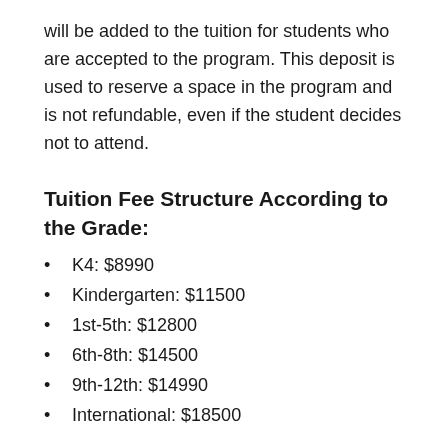will be added to the tuition for students who are accepted to the program. This deposit is used to reserve a space in the program and is not refundable, even if the student decides not to attend.
Tuition Fee Structure According to the Grade:
K4: $8990
Kindergarten: $11500
1st-5th: $12800
6th-8th: $14500
9th-12th: $14990
International: $18500